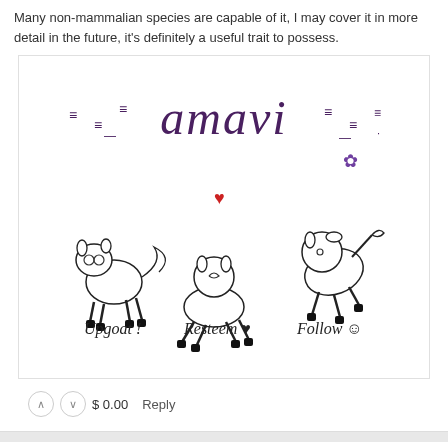Many non-mammalian species are capable of it, I may cover it in more detail in the future, it's definitely a useful trait to possess.
[Figure (illustration): Illustration showing the word 'amavi' in stylized lettering with decorative marks around it, and three cartoon goat/animal characters labeled 'Upgoat !', 'Resteem ♥', and 'Follow :)']
$ 0.00   Reply
whitneynoel (35) ▾   5 years ago
Wow, Dino Power! haha Are they related to the Dinos??
$ 0.03 ▾   1 vote ▾   Reply